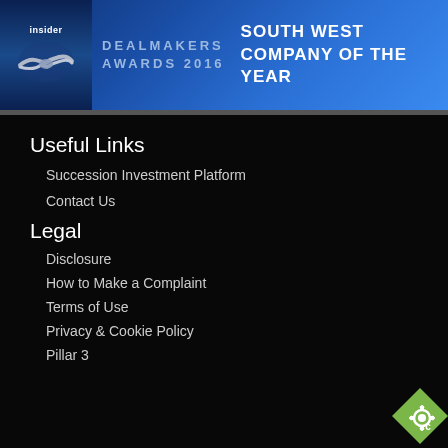[Figure (logo): Insider Dealmakers Awards 2016 — South West Company of the Year banner with handshake logo on blue gradient background]
Useful Links
Succession Investment Platform
Contact Us
Legal
Disclosure
How to Make a Complaint
Terms of Use
Privacy & Cookie Policy
Pillar 3